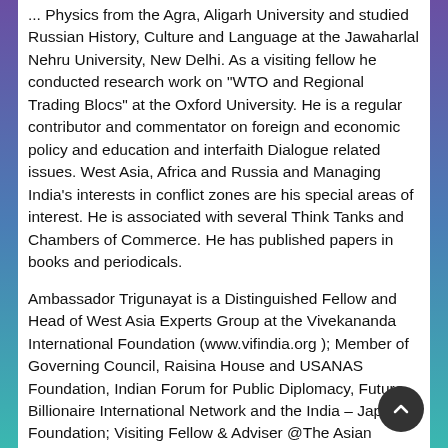... Physics from the Agra, Aligarh University and studied Russian History, Culture and Language at the Jawaharlal Nehru University, New Delhi. As a visiting fellow he conducted research work on “WTO and Regional Trading Blocs” at the Oxford University. He is a regular contributor and commentator on foreign and economic policy and education and interfaith Dialogue related issues. West Asia, Africa and Russia and Managing India’s interests in conflict zones are his special areas of interest. He is associated with several Think Tanks and Chambers of Commerce. He has published papers in books and periodicals.
Ambassador Trigunayat is a Distinguished Fellow and Head of West Asia Experts Group at the Vivekananda International Foundation (www.vifindia.org ); Member of Governing Council, Raisina House and USANAS Foundation, Indian Forum for Public Diplomacy, Future Billionaire International Network and the India – Japan Foundation; Visiting Fellow & Adviser @The Asian Institute of Diplomacy& International...